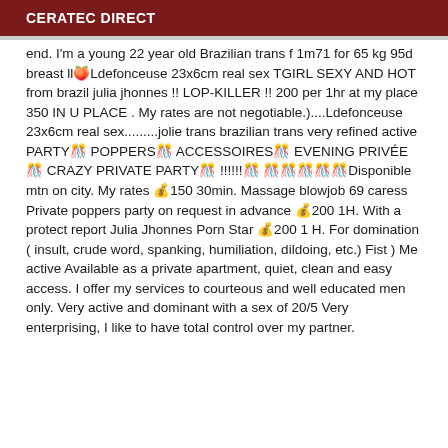CERATEC DIRECT
end. I'm a young 22 year old Brazilian trans f 1m71 for 65 kg 95d breast ll🍑Ldefonceuse 23x6cm real sex TGIRL SEXY AND HOT from brazil julia jhonnes !! LOP-KILLER !! 200 per 1hr at my place 350 IN U PLACE . My rates are not negotiable.)....Ldefonceuse 23x6cm real sex.........jolie trans brazilian trans very refined active PARTY🎊 POPPERS🎊 ACCESSOIRES🎊 EVENING PRIVÉE🎊 CRAZY PRIVATE PARTY🎊 !!!!!!🎊 🎊🎊🎊🎊🎊Disponible mtn on city. My rates 💰150 30min. Massage blowjob 69 caress Private poppers party on request in advance 💰200 1H. With a protect report Julia Jhonnes Porn Star 💰200 1 H. For domination ( insult, crude word, spanking, humiliation, dildoing, etc.) Fist ) Me active Available as a private apartment, quiet, clean and easy access. I offer my services to courteous and well educated men only. Very active and dominant with a sex of 20/5 Very enterprising, I like to have total control over my partner.